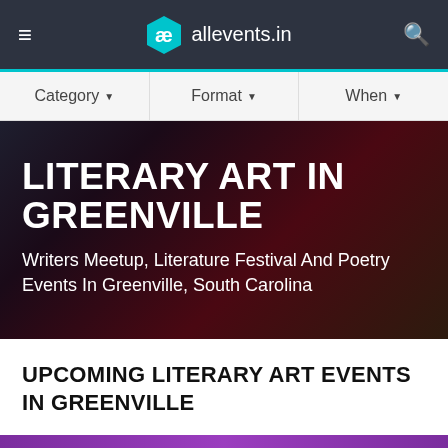allevents.in
LITERARY ART IN GREENVILLE
Writers Meetup, Literature Festival And Poetry Events In Greenville, South Carolina
UPCOMING LITERARY ART EVENTS IN GREENVILLE